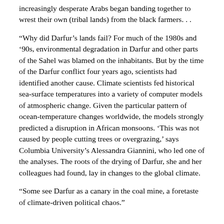increasingly desperate Arabs began banding together to wrest their own (tribal lands) from the black farmers. . .
“Why did Darfur’s lands fail? For much of the 1980s and ‘‘90s, environmental degradation in Darfur and other parts of the Sahel was blamed on the inhabitants. But by the time of the Darfur conflict four years ago, scientists had identified another cause. Climate scientists fed historical sea-surface temperatures into a variety of computer models of atmospheric change. Given the particular pattern of ocean-temperature changes worldwide, the models strongly predicted a disruption in African monsoons. ‘This was not caused by people cutting trees or overgrazing,’ says Columbia University’s Alessandra Giannini, who led one of the analyses. The roots of the drying of Darfur, she and her colleagues had found, lay in changes to the global climate.
“Some see Darfur as a canary in the coal mine, a foretaste of climate-driven political chaos.”